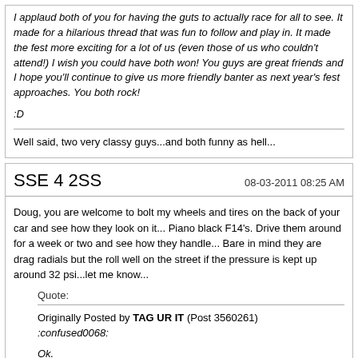I applaud both of you for having the guts to actually race for all to see. It made for a hilarious thread that was fun to follow and play in. It made the fest more exciting for a lot of us (even those of us who couldn't attend!) I wish you could have both won! You guys are great friends and I hope you'll continue to give us more friendly banter as next year's fest approaches. You both rock!

:D
Well said, two very classy guys...and both funny as hell...
SSE 4 2SS
08-03-2011 08:25 AM
Doug, you are welcome to bolt my wheels and tires on the back of your car and see how they look on it... Piano black F14's. Drive them around for a week or two and see how they handle... Bare in mind they are drag radials but the roll well on the street if the pressure is kept up around 32 psi...let me know...
Quote:
Originally Posted by TAG UR IT (Post 3560261)
:confused0068:

Ok.